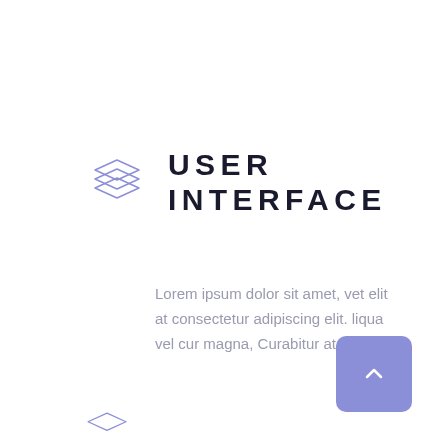[Figure (illustration): Three stacked layers icon in light purple/periwinkle outline style, representing a UI layers concept]
USER INTERFACE
Lorem ipsum dolor sit amet, vet elit at consectetur adipiscing elit. liqua vel cur magna, Curabitur at enisus
[Figure (illustration): Purple rounded square button with upward chevron arrow, used as a scroll-to-top button]
[Figure (illustration): Partial bottom icon element visible at bottom left, similar layers icon in light purple outline]